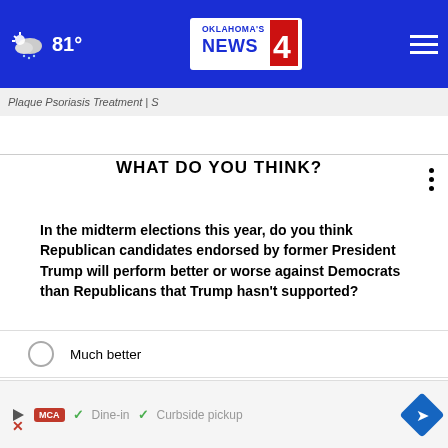[Figure (logo): Oklahoma's News 4 logo on blue navigation bar with weather icon showing 81° and hamburger menu]
Plaque Psoriasis Treatment | S
WHAT DO YOU THINK?
In the midterm elections this year, do you think Republican candidates endorsed by former President Trump will perform better or worse against Democrats than Republicans that Trump hasn't supported?
Much better
Somewhat better
About the same
Somewhat worse
[Figure (infographic): Bottom advertisement overlay showing play button, MCA badge, dine-in and curbside pickup options with navigation diamond icon]